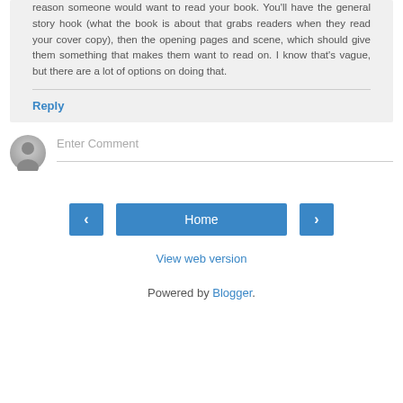reason someone would want to read your book. You'll have the general story hook (what the book is about that grabs readers when they read your cover copy), then the opening pages and scene, which should give them something that makes them want to read on. I know that's vague, but there are a lot of options on doing that.
Reply
Enter Comment
Home
View web version
Powered by Blogger.